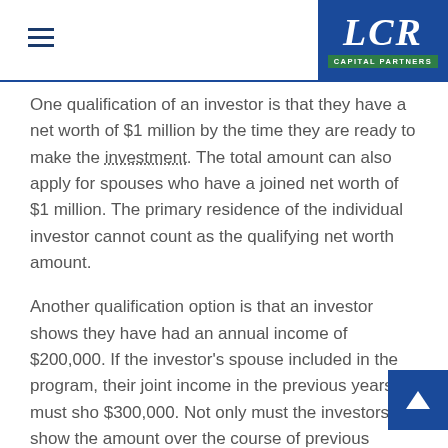LCR CAPITAL PARTNERS
One qualification of an investor is that they have a net worth of $1 million by the time they are ready to make the investment. The total amount can also apply for spouses who have a joined net worth of $1 million. The primary residence of the individual investor cannot count as the qualifying net worth amount.
Another qualification option is that an investor shows they have had an annual income of $200,000. If the investor's spouse included in the program, their joint income in the previous years must sho $300,000. Not only must the investors show the amount over the course of previous years, but also